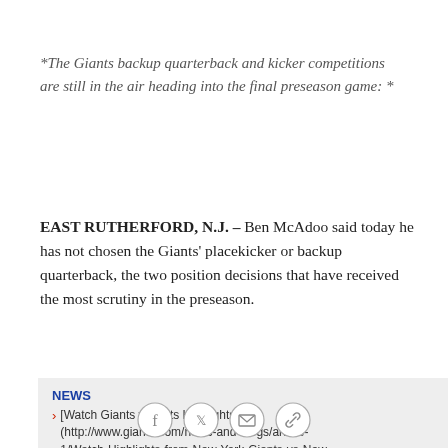*The Giants backup quarterback and kicker competitions are still in the air heading into the final preseason game: *
EAST RUTHERFORD, N.J. – Ben McAdoo said today he has not chosen the Giants' placekicker or backup quarterback, the two position decisions that have received the most scrutiny in the preseason.
NEWS
[Watch Giants vs. Jets Highlights] (http://www.giants.com/news-and-blogs/article-1/Watch-Highlights-from-New-York-Giants-vs-New-